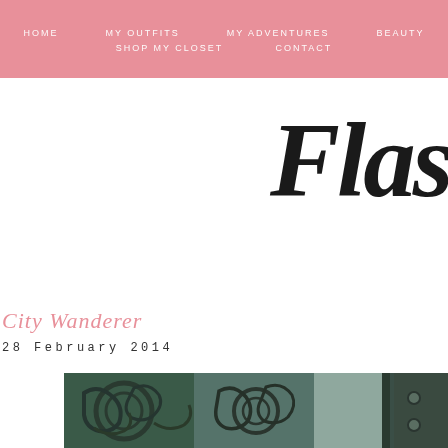HOME  MY OUTFITS  MY ADVENTURES  BEAUTY  SHOP MY CLOSET  CONTACT
Flas
City Wanderer
28 February 2014
[Figure (photo): Close-up of ornate dark metal decorative ironwork with scroll and floral motifs]